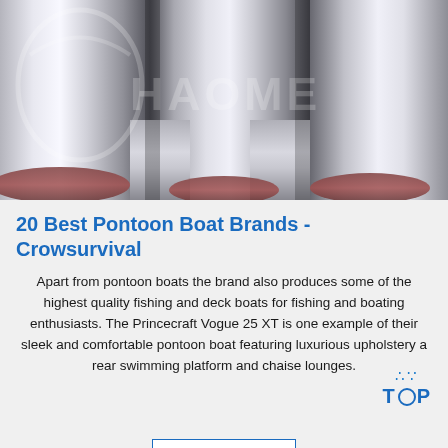[Figure (photo): Close-up photo of shiny metallic cylindrical tubes/rollers with a watermark overlay reading 'HAOME' and a circle/logo watermark in the upper left.]
20 Best Pontoon Boat Brands - Crowsurvival
Apart from pontoon boats the brand also produces some of the highest quality fishing and deck boats for fishing and boating enthusiasts. The Princecraft Vogue 25 XT is one example of their sleek and comfortable pontoon boat featuring luxurious upholstery a rear swimming platform and chaise lounges.